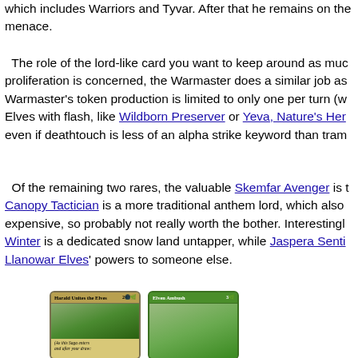which includes Warriors and Tyvar. After that he remains on the menace.
The role of the lord-like card you want to keep around as much as proliferation is concerned, the Warmaster does a similar job as Warmaster's token production is limited to only one per turn (w Elves with flash, like Wildborn Preserver or Yeva, Nature's Her even if deathtouch is less of an alpha strike keyword than tram
Of the remaining two rares, the valuable Skemfar Avenger is t Canopy Tactician is a more traditional anthem lord, which also expensive, so probably not really worth the bother. Interestingl Winter is a dedicated snow land untapper, while Jaspera Senti Llanowar Elves' powers to someone else.
The tribe features a second snow card in Boreal Outrider, a di Coldsnap), as well as two cards that generate effects of variab case, of members of any tribe, but we all know that Elves are a Shadowsage and Thornmantle Striker. There's also a meaning Elves, most notably the Saga Harald Unites the Elves and the
[Figure (photo): Two Magic: The Gathering card images at bottom of page. Left card: 'Harald Unites the Elves' saga card with gold/brown border and green art. Right card: 'Elven Ambush' with green border and forest art.]